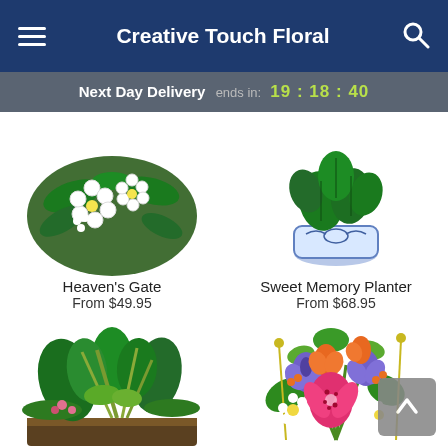Creative Touch Floral
Next Day Delivery ends in: 19:18:40
[Figure (photo): Heaven's Gate floral arrangement with white gerbera daisies and greenery]
Heaven's Gate
From $49.95
[Figure (photo): Sweet Memory Planter with green foliage in blue and white ceramic pot]
Sweet Memory Planter
From $68.95
[Figure (photo): Large dish garden with assorted tropical green plants in a dark container]
[Figure (photo): Colorful floral arrangement with purple irises, pink stargazer lilies, orange roses, and white daisies]